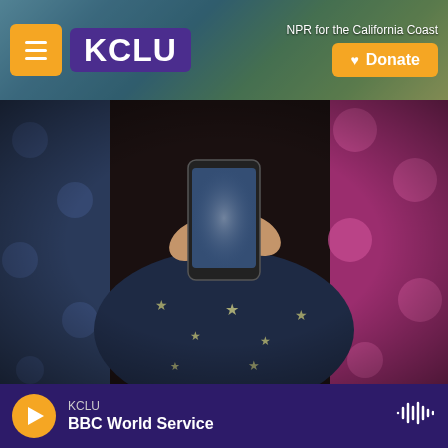KCLU — NPR for the California Coast
[Figure (photo): Person lying down wearing a star-patterned shirt, holding a smartphone above their face, surrounded by polka-dot fabric in dark blue and magenta.]
Elva Etienne / Getty Images
Washington Post technology columnist Geoffrey Fowler says smartphones and apps are harvesting our personal data — and that of our kids — on a scale that would shock most users. By the time a child is 13, he writes, online advertising firms have collected an average of 72 million data points about
KCLU — BBC World Service